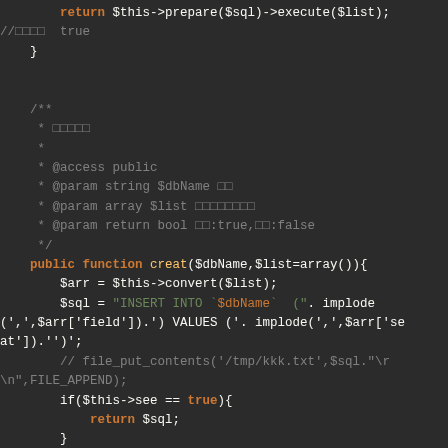[Figure (screenshot): Code editor screenshot showing PHP code with dark background. Contains a return statement, closing brace, PHPDoc comment block with @access and @param tags, and a public function named creat() with SQL INSERT logic.]